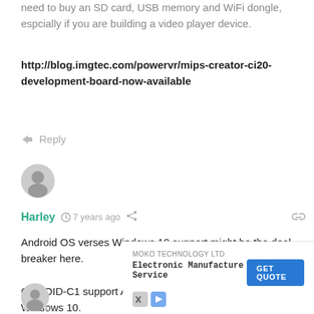need to buy an SD card, USB memory and WiFi dongle, espcially if you are building a video player device.
http://blog.imgtec.com/powervr/mips-creator-ci20-development-board-now-available
Reply
[Figure (illustration): Grey user avatar icon]
Harley  7 years ago
Android OS verses Windows 10 support might be the deal-breaker here.

ODROID-C1 support Android, and Raspberry Pi 2 support Windows 10.

Prefer Android for apps and games, while prefer Windows for office use.
Reply
[Figure (illustration): Ad banner: MOKO TECHNOLOGY LTD Electronic Manufacture Service with GET QUOTE button]
[Figure (illustration): Small user avatar icon at bottom left]